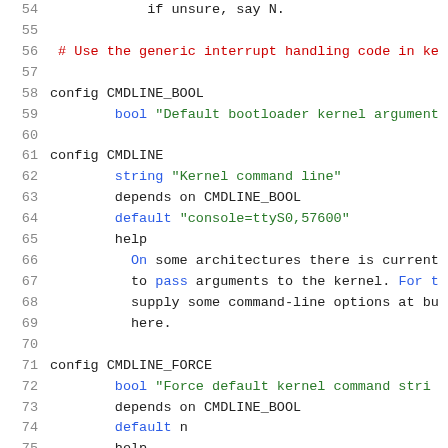Source code listing: Kconfig file, lines 54-75
54			if unsure, say N.
55
56	# Use the generic interrupt handling code in ke
57
58	config CMDLINE_BOOL
59			bool "Default bootloader kernel argument
60
61	config CMDLINE
62			string "Kernel command line"
63			depends on CMDLINE_BOOL
64			default "console=ttyS0,57600"
65			help
66				On some architectures there is current
67				to pass arguments to the kernel. For t
68				supply some command-line options at bu
69				here.
70
71	config CMDLINE_FORCE
72			bool "Force default kernel command stri
73			depends on CMDLINE_BOOL
74			default n
75			help